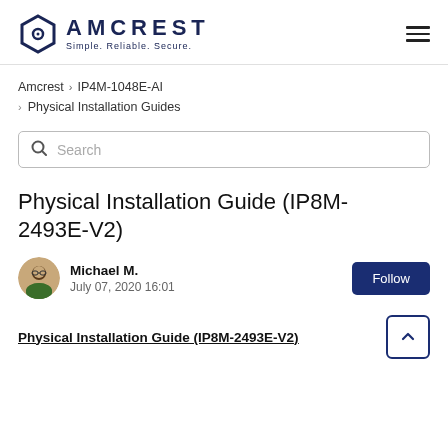[Figure (logo): Amcrest logo with hexagon shield icon and tagline Simple. Reliable. Secure.]
Amcrest > IP4M-1048E-AI
> Physical Installation Guides
Search
Physical Installation Guide (IP8M-2493E-V2)
Michael M.
July 07, 2020 16:01
Physical Installation Guide (IP8M-2493E-V2)